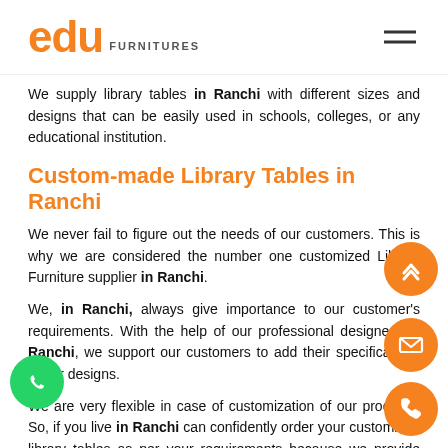[Figure (logo): Edu Furnitures logo with orange 'edu' text and grey 'FURNITURES' text, hamburger menu icon top right]
We supply library tables in Ranchi with different sizes and designs that can be easily used in schools, colleges, or any educational institution.
Custom-made Library Tables in Ranchi
We never fail to figure out the needs of our customers. This is why we are considered the number one customized Library Furniture supplier in Ranchi.
We, in Ranchi, always give importance to our customer's requirements. With the help of our professional designers in Ranchi, we support our customers to add their specifications to our designs.
We are very flexible in case of customization of our products. So, if you live in Ranchi can confidently order your customized library tables as per your requirements because we provide timely delivery and are regarded as one of the best Library Study Tables Exporters Ranchi.
Quality Library Study Tables in Ranchi